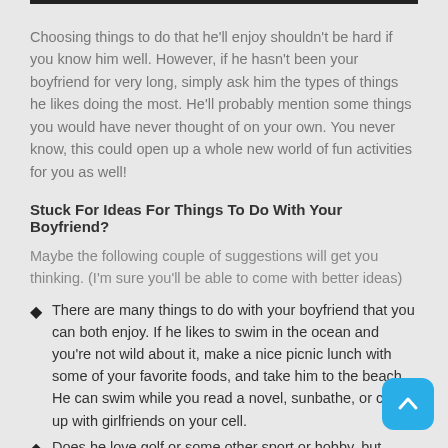Choosing things to do that he'll enjoy shouldn't be hard if you know him well. However, if he hasn't been your boyfriend for very long, simply ask him the types of things he likes doing the most. He'll probably mention some things you would have never thought of on your own. You never know, this could open up a whole new world of fun activities for you as well!
Stuck For Ideas For Things To Do With Your Boyfriend?
Maybe the following couple of suggestions will get you thinking. (I'm sure you'll be able to come with better ideas)
There are many things to do with your boyfriend that you can both enjoy. If he likes to swim in the ocean and you're not wild about it, make a nice picnic lunch with some of your favorite foods, and take him to the beach. He can swim while you read a novel, sunbathe, or catch up with girlfriends on your cell.
Does he love golf or some other sport or hobby, but